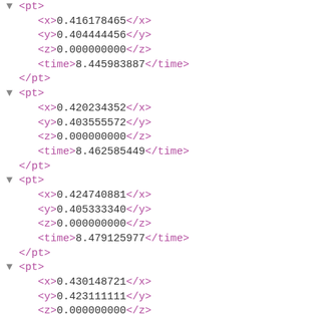▼ <pt>
    <x>0.416178465</x>
    <y>0.404444456</y>
    <z>0.000000000</z>
    <time>8.445983887</time>
  </pt>
  ▼ <pt>
    <x>0.420234352</x>
    <y>0.403555572</y>
    <z>0.000000000</z>
    <time>8.462585449</time>
  </pt>
  ▼ <pt>
    <x>0.424740881</x>
    <y>0.405333340</y>
    <z>0.000000000</z>
    <time>8.479125977</time>
  </pt>
  ▼ <pt>
    <x>0.430148721</x>
    <y>0.423111111</y>
    <z>0.000000000</z>
    <time>8.495544434</time>
  </pt>
  ▼ <pt>
    <x>0.434655249</x>
    <y>0.447111100</y>
    <z>0.000000000</z>
    <time>8.512329102</time>
  </pt>
  ▼ <pt>